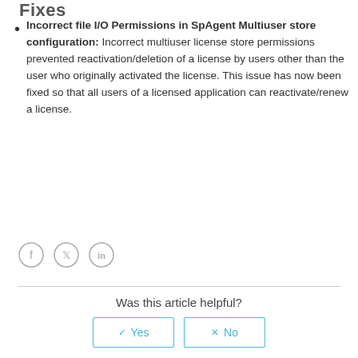Fixes
Incorrect file I/O Permissions in SpAgent Multiuser store configuration: Incorrect multiuser license store permissions prevented reactivation/deletion of a license by users other than the user who originally activated the license. This issue has now been fixed so that all users of a licensed application can reactivate/renew a license.
[Figure (other): Social media share icons: Facebook, Twitter, LinkedIn]
Was this article helpful?
Yes | No
0 out of 0 found this helpful